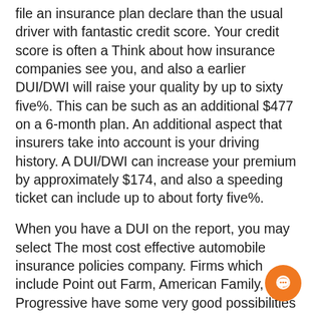file an insurance plan declare than the usual driver with fantastic credit score. Your credit score is often a Think about how insurance companies see you, and also a earlier DUI/DWI will raise your quality by up to sixty five%. This can be such as an additional $477 on a 6-month plan. An additional aspect that insurers take into account is your driving history. A DUI/DWI can increase your premium by approximately $174, and also a speeding ticket can include up to about forty five%.
When you have a DUI on the report, you may select The most cost effective automobile insurance policies company. Firms which include Point out Farm, American Family, and Progressive have some very good possibilities which provide reduced premiums for prime-threat motorists. Additionally they contemplate your credit history score when pinpointing your quality. Insurers take into account these variables when deciding just how much you spend for your personal policy. A very poor credit history score could potentially cause insurance companies to charge higher premiums to ...